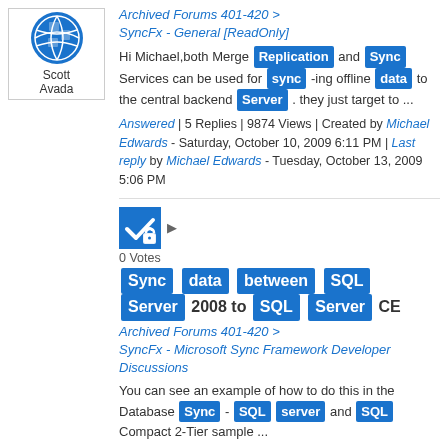[Figure (illustration): User avatar for Scott Avada - globe/puzzle icon in blue and white]
Scott Avada
Archived Forums 401-420 > SyncFx - General [ReadOnly]
Hi Michael,both Merge Replication and Sync Services can be used for sync -ing offline data to the central backend Server . they just target to ...
Answered | 5 Replies | 9874 Views | Created by Michael Edwards - Saturday, October 10, 2009 6:11 PM | Last reply by Michael Edwards - Tuesday, October 13, 2009 5:06 PM
0 Votes
Sync data between SQL Server 2008 to SQL Server CE
Archived Forums 401-420 > SyncFx - Microsoft Sync Framework Developer Discussions
You can see an example of how to do this in the Database Sync - SQL server and SQL Compact 2-Tier sample ...
Answered | 3 Replies | 8748 Views | Created by varun gvk - Wednesday, January 26, 2011 8:46 PM | Last reply by varun gvk - Thursday, February 3, 2011 5:18 PM